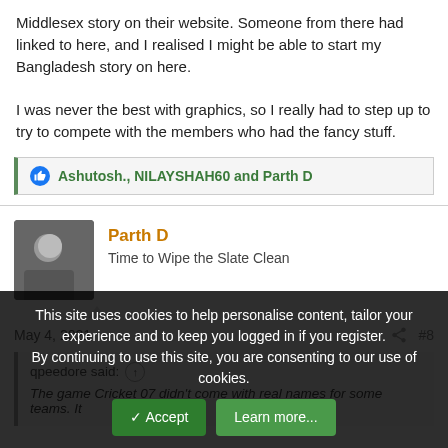Middlesex story on their website. Someone from there had linked to here, and I realised I might be able to start my Bangladesh story on here.

I was never the best with graphics, so I really had to step up to try to compete with the members who had the fancy stuff.
Ashutosh., NILAYSHAH60 and Parth D
Parth D
Time to Wipe the Slate Clean
May 4, 2021
#8
qpeedore said:
The game Cricket 07 didn't come with real names for some teams. It
This site uses cookies to help personalise content, tailor your experience and to keep you logged in if you register.
By continuing to use this site, you are consenting to our use of cookies.
Accept
Learn more...